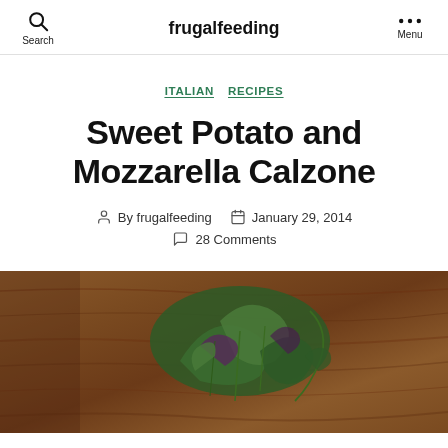frugalfeeding
ITALIAN   RECIPES
Sweet Potato and Mozzarella Calzone
By frugalfeeding   January 29, 2014   28 Comments
[Figure (photo): Food photo showing green herbs/salad leaves on a wooden surface with warm brown tones]